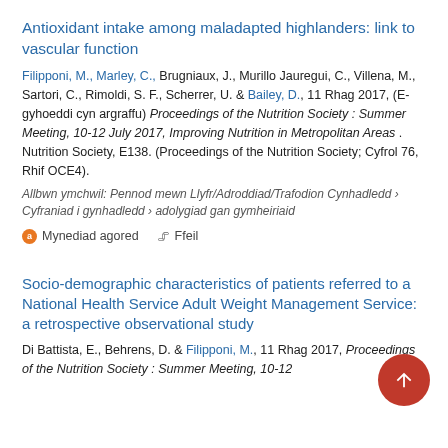Antioxidant intake among maladapted highlanders: link to vascular function
Filipponi, M., Marley, C., Brugniaux, J., Murillo Jauregui, C., Villena, M., Sartori, C., Rimoldi, S. F., Scherrer, U. & Bailey, D., 11 Rhag 2017, (E-gyhoeddi cyn argraffu) Proceedings of the Nutrition Society : Summer Meeting, 10-12 July 2017, Improving Nutrition in Metropolitan Areas . Nutrition Society, E138. (Proceedings of the Nutrition Society; Cyfrol 76, Rhif OCE4).
Allbwn ymchwil: Pennod mewn Llyfr/Adroddiad/Trafodion Cynhadledd › Cyfraniad i gynhadledd › adolygiad gan gymheiriaid
Mynediad agored   Ffeil
Socio-demographic characteristics of patients referred to a National Health Service Adult Weight Management Service: a retrospective observational study
Di Battista, E., Behrens, D. & Filipponi, M., 11 Rhag 2017, Proceedings of the Nutrition Society : Summer Meeting, 10-12